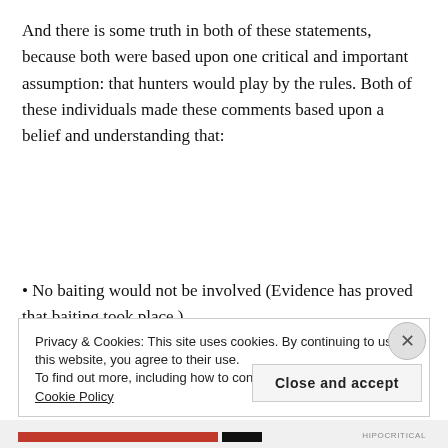And there is some truth in both of these statements, because both were based upon one critical and important assumption: that hunters would play by the rules. Both of these individuals made these comments based upon a belief and understanding that:
• No baiting would not be involved (Evidence has proved that baiting took place.)
• No killing of mothers with cubs (Politico Florida has
Privacy & Cookies: This site uses cookies. By continuing to use this website, you agree to their use.
To find out more, including how to control cookies, see here: Cookie Policy
Close and accept